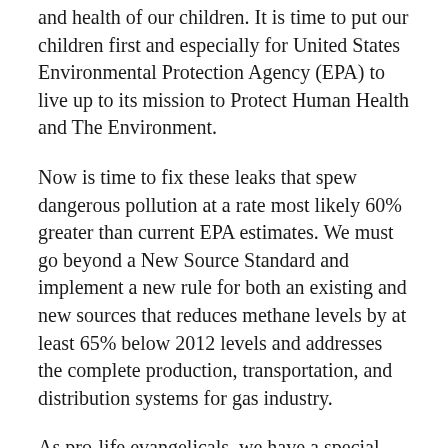and health of our children. It is time to put our children first and especially for United States Environmental Protection Agency (EPA) to live up to its mission to Protect Human Health and The Environment.
Now is time to fix these leaks that spew dangerous pollution at a rate most likely 60% greater than current EPA estimates. We must go beyond a New Source Standard and implement a new rule for both an existing and new sources that reduces methane levels by at least 65% below 2012 levels and addresses the complete production, transportation, and distribution systems for gas industry.
As pro-life evangelicals, we have a special concern for the unborn.  We want children to be born healthy and unhindered by the ravages of pollution even before they take their first breath.  The medical